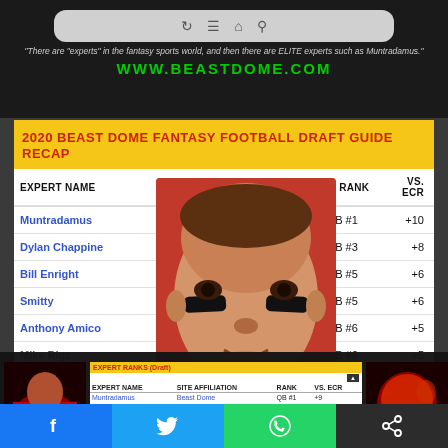[Figure (screenshot): Browser navigation bar and Beast Dome website banner with quote and green URL]
2020 BEAST DOME FANTASY FOOTBALL DRAFT GUIDE RECAP
| EXPERT NAME | SITE AFFILIATION | RANK | VS. ECR |
| --- | --- | --- | --- |
| Muntradamus | Beast Dome | QB #1 | +10 |
| Dylan Chappine |  | QB #3 | +8 |
| Bill Enright |  | QB #5 | +6 |
| Smitty |  | QB #5 | +6 |
| Anthony Amico |  | QB #6 | +5 |
| Mike Rigz |  | QB #6 | +5 |
| Mick Ciallela |  | QB #6 | +5 |
| Jacob Wayne |  | QB #6 | +5 |
[Figure (illustration): Stylized cartoon illustration of a football player face with eye black]
[Figure (screenshot): Thumbnail of the same draft guide table page]
[Figure (photo): Thumbnail showing football jersey/helmet in red and black]
[Figure (other): Purple chat/support bubble icon]
[Figure (logo): Social media share bar: Facebook, Twitter, WhatsApp, and share button]